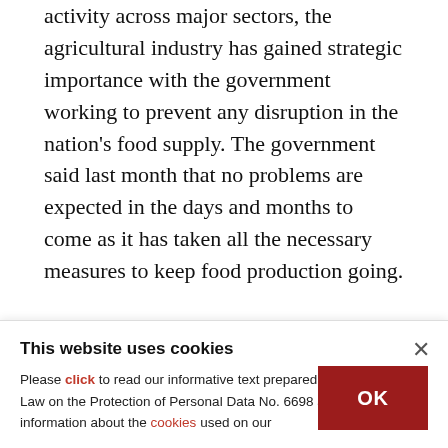activity across major sectors, the agricultural industry has gained strategic importance with the government working to prevent any disruption in the nation's food supply. The government said last month that no problems are expected in the days and months to come as it has taken all the necessary measures to keep food production going.

In addition to meeting domestic demands, Turkey also increased its agri-exports during the pandemic, especially to the European markets, where food
This website uses cookies
Please click to read our informative text prepared pursuant to the Law on the Protection of Personal Data No. 6698 and to get information about the cookies used on our